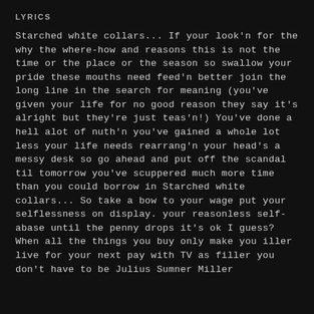LYRICS
Starched white collars... If your look'n for the why the where-how and reasons this is not the time or the place or the season so swallow your pride these mouths need feed'n better join the long line in the search for meaning (you've given your life for no good reason they say it's alright but they're just teas'n!) You've done a hell alot of nuth'n you've gained a whole lot less your life needs rearrang'n your head's a messy desk so go ahead and put off the scandal til tomorrow you've scuppered much more time than you could borrow in Starched white collars... So take a bow to your wage put your selflessness on display. your reasonless self-abase until the penny drops it's ok I guess? When all the things you buy only make you iller live for your next pay with TV as filler you don't have to be Julius Sumner Miller